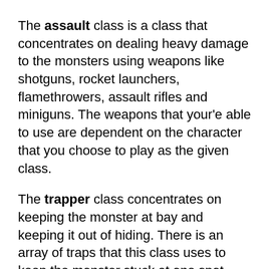The assault class is a class that concentrates on dealing heavy damage to the monsters using weapons like shotguns, rocket launchers, flamethrowers, assault rifles and miniguns. The weapons that your'e able to use are dependent on the character that you choose to play as the given class.
The trapper class concentrates on keeping the monster at bay and keeping it out of hiding. There is an array of traps that this class uses to keep the monster stuck at one spot while the party deals damage. Weapons for a trapper include things like SMGs, shotguns and various traps/grenades.
The medic class concentrates on keeping